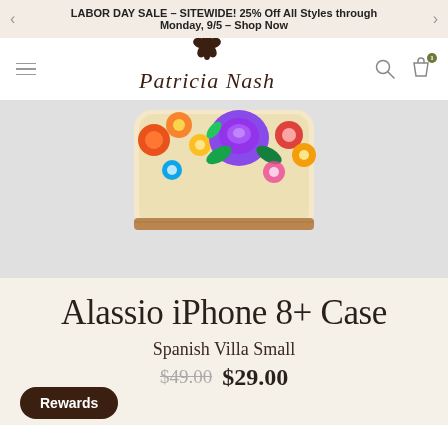LABOR DAY SALE – SITEWIDE! 25% Off All Styles through Monday, 9/5 – Shop Now
[Figure (logo): Patricia Nash brand logo in cursive script with floral emblem]
[Figure (photo): Alassio iPhone 8+ Case in Spanish Villa Small floral print — partial view showing top of the case with colorful floral leather design]
Alassio iPhone 8+ Case
Spanish Villa Small
$49.00 $29.00